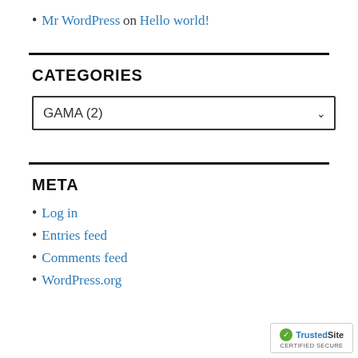Mr WordPress on Hello world!
CATEGORIES
[Figure (other): Dropdown select box showing GAMA (2)]
META
Log in
Entries feed
Comments feed
WordPress.org
[Figure (logo): TrustedSite Certified Secure badge]